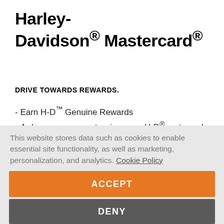Harley-Davidson® Mastercard®
DRIVE TOWARDS REWARDS.
- Earn H-D™ Genuine Rewards
- 4 chances per year to win a new H-D® motorcycle
- No annual fee
APPLY NOW
This website stores data such as cookies to enable essential site functionality, as well as marketing, personalization, and analytics. Cookie Policy
ACCEPT
DENY